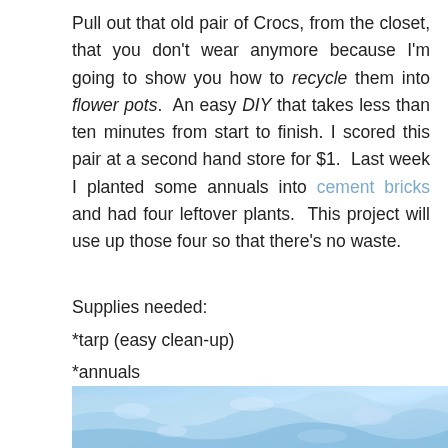Pull out that old pair of Crocs, from the closet, that you don't wear anymore because I'm going to show you how to recycle them into flower pots.  An easy DIY that takes less than ten minutes from start to finish.  I scored this pair at a second hand store for $1.  Last week I planted some annuals into cement bricks and had four leftover plants.  This project will use up those four so that there's no waste.
Supplies needed:
*tarp (easy clean-up)
*annuals
*pair of Crocs
*top soil
*twine or fishing line
[Figure (photo): Blue tarp or similar blue textured surface photo at bottom of page]